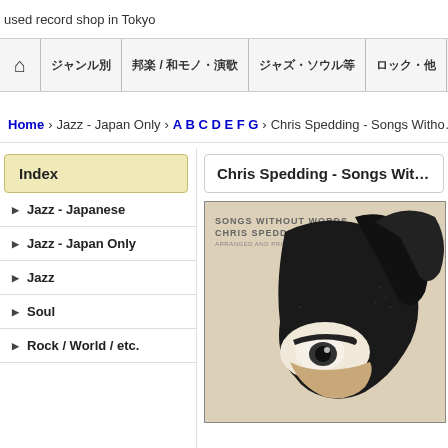used record shop in Tokyo
Home | ジャンル別 | 邦楽 / 和モノ・演歌 | ジャズ・ソウル等 | ロック・他 | About Us | Int'l Customers
Home > Jazz - Japan Only > A B C D E F G > Chris Spedding - Songs Without Words
Index
Jazz - Japanese
Jazz - Japan Only
Jazz
Soul
Rock / World / etc.
Chris Spedding - Songs Without Words
[Figure (photo): Album cover for Chris Spedding - Songs Without Words featuring abstract face illustration with text 'SONGS WITHOUT WORDS CHRIS SPEDDING']